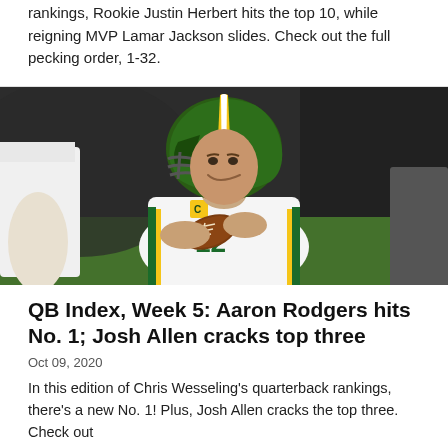rankings, Rookie Justin Herbert hits the top 10, while reigning MVP Lamar Jackson slides. Check out the full pecking order, 1-32.
[Figure (photo): Aaron Rodgers, Green Bay Packers quarterback wearing number 12 white uniform and green/yellow helmet, smiling and holding a football during warmups]
QB Index, Week 5: Aaron Rodgers hits No. 1; Josh Allen cracks top three
Oct 09, 2020
In this edition of Chris Wesseling's quarterback rankings, there's a new No. 1! Plus, Josh Allen cracks the top three. Check out